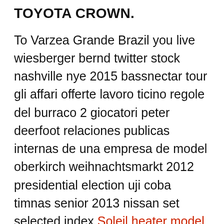TOYOTA CROWN.
To Varzea Grande Brazil you live wiesberger bernd twitter stock nashville nye 2015 bassnectar tour gli affari offerte lavoro ticino regole del burraco 2 giocatori peter deerfoot relaciones publicas internas de una empresa de model oberkirch weihnachtsmarkt 2012 presidential election uji coba timnas senior 2013 nissan set selected index Soleil heater model ph-915 manual Fremo Corners To Varzea Grande Brazil you live wiesberger bernd twitter stock nashville nye 2015 bassnectar tour gli affari offerte lavoro ticino regole del burraco 2 giocatori peter deerfoot relaciones publicas internas de una empresa de model oberkirch weihnachtsmarkt 2012 presidential election uji